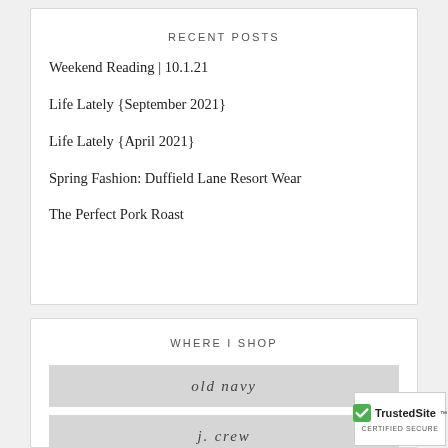RECENT POSTS
Weekend Reading | 10.1.21
Life Lately {September 2021}
Life Lately {April 2021}
Spring Fashion: Duffield Lane Resort Wear
The Perfect Pork Roast
WHERE I SHOP
old navy
j. crew